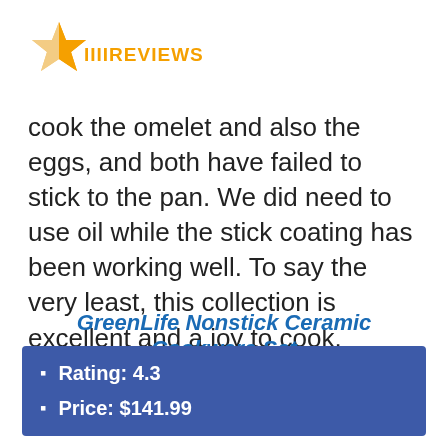[Figure (logo): iiiiREVIEWS logo with orange star and bold orange uppercase text]
cook the omelet and also the eggs, and both have failed to stick to the pan. We did need to use oil while the stick coating has been working well. To say the very least, this collection is excellent and a joy to cook.
GreenLife Nonstick Ceramic Cookware Set
Rating: 4.3
Price: $141.99